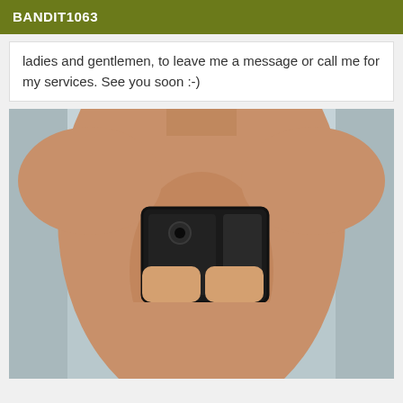BANDIT1063
ladies and gentlemen, to leave me a message or call me for my services. See you soon :-)
[Figure (photo): Shirtless man taking a mirror selfie with a smartphone in a bathroom]